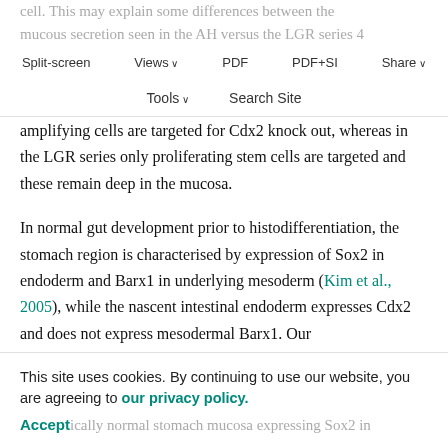cell. This may explain some differences between the mucous secretion seen in the AH versus the LGR series 4 weeks after injection. The AH has both differentiated cells on the villi and partially differentiated transit-
Split-screen | Views | PDF | PDF+SI | Share | Tools | Search Site
amplifying cells are targeted for Cdx2 knock out, whereas in the LGR series only proliferating stem cells are targeted and these remain deep in the mucosa.
In normal gut development prior to histodifferentiation, the stomach region is characterised by expression of Sox2 in endoderm and Barx1 in underlying mesoderm (Kim et al., 2005), while the nascent intestinal endoderm expresses Cdx2 and does not express mesodermal Barx1. Our
This site uses cookies. By continuing to use our website, you are agreeing to our privacy policy. Accept